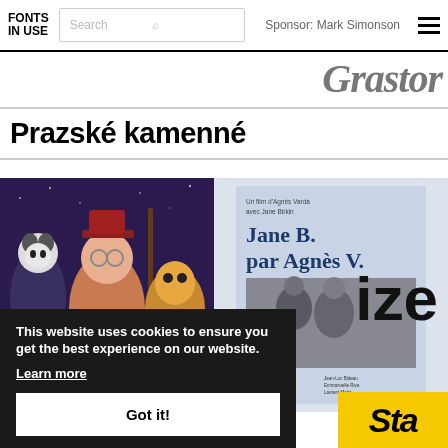FONTS IN USE | Search | Sponsor: Mark Simonson
Grastor (partial, stylized italic)
Prazské kamenné
[Figure (photo): Animated movie poster for Chickenhare with cartoon characters on purple background]
[Figure (photo): Movie poster for Jane B. par Agnès V. showing blue-tinted poster with large serif title and two women in photo]
Chickenhare (partial title in orange italic)
ize (partial word, large bold)
Sta (partial word on yellow background)
This website uses cookies to ensure you get the best experience on our website. Learn more
Got it!